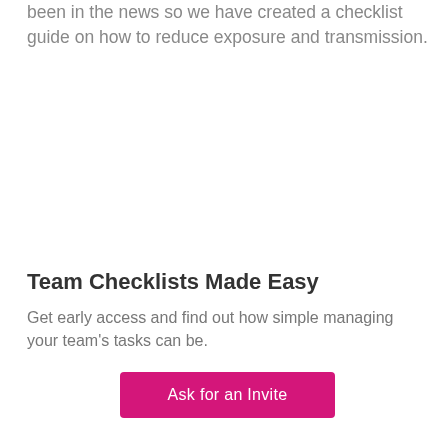been in the news so we have created a checklist guide on how to reduce exposure and transmission.
Team Checklists Made Easy
Get early access and find out how simple managing your team's tasks can be.
Ask for an Invite